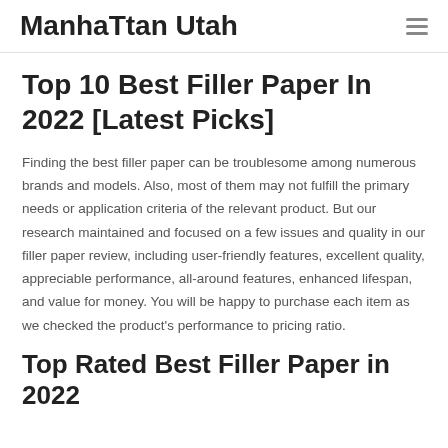ManhaTtan Utah
Top 10 Best Filler Paper In 2022 [Latest Picks]
Finding the best filler paper can be troublesome among numerous brands and models. Also, most of them may not fulfill the primary needs or application criteria of the relevant product. But our research maintained and focused on a few issues and quality in our filler paper review, including user-friendly features, excellent quality, appreciable performance, all-around features, enhanced lifespan, and value for money. You will be happy to purchase each item as we checked the product’s performance to pricing ratio.
Top Rated Best Filler Paper in 2022